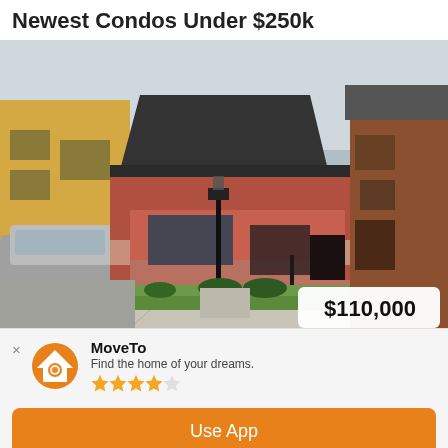Newest Condos Under $250k
[Figure (photo): Exterior photo of a red brick bungalow-style house with dark roof, front porch, lawn, sidewalk, parked SUV on the left, brick house on the right. Price badge showing $110,000 in the bottom-right corner of the image.]
MoveTo
Find the home of your dreams.
★★★★☆
Use App